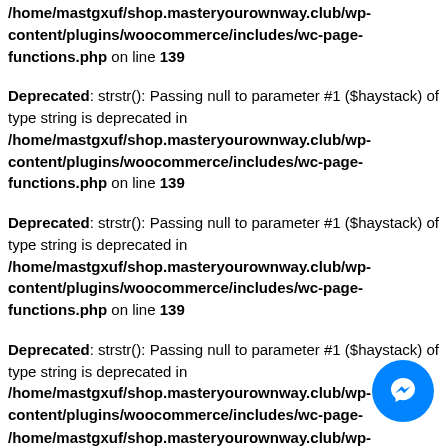/home/mastgxuf/shop.masteryourownway.club/wp-content/plugins/woocommerce/includes/wc-page-functions.php on line 139
Deprecated: strstr(): Passing null to parameter #1 ($haystack) of type string is deprecated in /home/mastgxuf/shop.masteryourownway.club/wp-content/plugins/woocommerce/includes/wc-page-functions.php on line 139
Deprecated: strstr(): Passing null to parameter #1 ($haystack) of type string is deprecated in /home/mastgxuf/shop.masteryourownway.club/wp-content/plugins/woocommerce/includes/wc-page-functions.php on line 139
Deprecated: strstr(): Passing null to parameter #1 ($haystack) of type string is deprecated in /home/mastgxuf/shop.masteryourownway.club/wp-content/plugins/woocommerce/includes/wc-page-functions.php on line 139
[Figure (other): Messenger chat button (blue circle with white lightning bolt icon)]